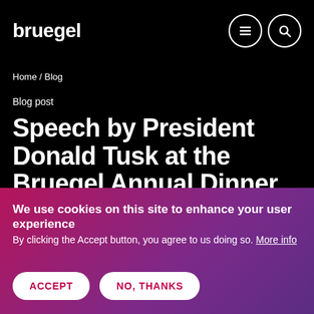bruegel
Home / Blog
Blog post
Speech by President Donald Tusk at the Bruegel Annual Dinner
We use cookies on this site to enhance your user experience
By clicking the Accept button, you agree to us doing so. More info
ACCEPT
NO, THANKS